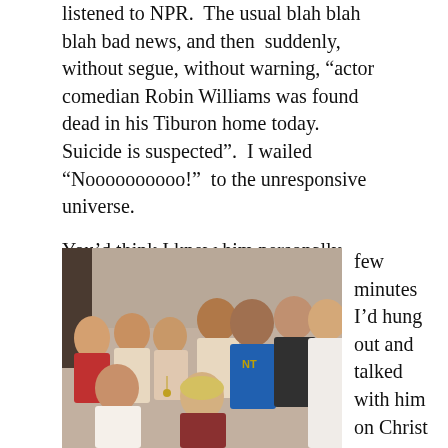listened to NPR.  The usual blah blah blah bad news, and then  suddenly, without segue, without warning, “actor comedian Robin Williams was found dead in his Tiburon home today.  Suicide is suspected”.  I wailed “Noooooooooo!”  to the unresponsive universe.
You’d think I knew him personally beyond the
[Figure (photo): A group photo of approximately 10-11 people posing together, appearing to be taken indoors. A man in the center is wearing a blue jersey with letters 'NTC' or similar. The photo has a slightly aged, early 2000s look.]
few minutes I’d hung out and talked with him on Christ